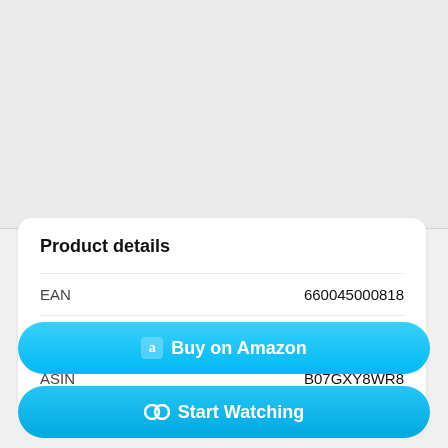Product details
| Field | Value |
| --- | --- |
| EAN | 660045000818 |
| UPC | 660045000818 |
| ASIN | B07GXY8WR8 |
Buy on Amazon
Start Watching